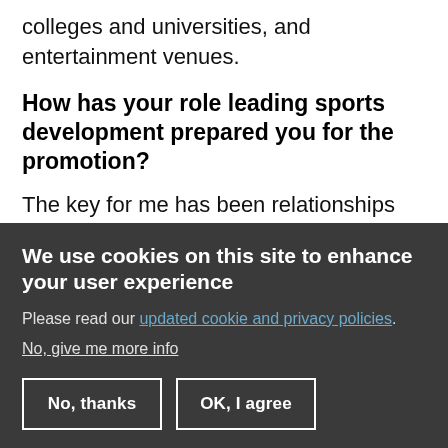colleges and universities, and entertainment venues.
How has your role leading sports development prepared you for the promotion?
The key for me has been relationships and reputation. With leading our sports efforts, I have established so many strong relationships
We use cookies on this site to enhance your user experience
Please read our updated cookie and privacy policies.
No, give me more info
No, thanks
OK, I agree